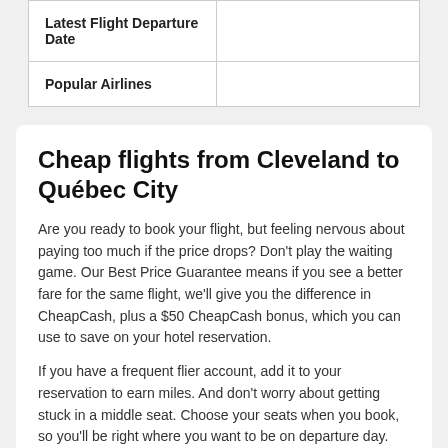| Latest Flight Departure Date |  |
| Popular Airlines |  |
Cheap flights from Cleveland to Québec City
Are you ready to book your flight, but feeling nervous about paying too much if the price drops? Don't play the waiting game. Our Best Price Guarantee means if you see a better fare for the same flight, we'll give you the difference in CheapCash, plus a $50 CheapCash bonus, which you can use to save on your hotel reservation.
If you have a frequent flier account, add it to your reservation to earn miles. And don't worry about getting stuck in a middle seat. Choose your seats when you book, so you'll be right where you want to be on departure day.